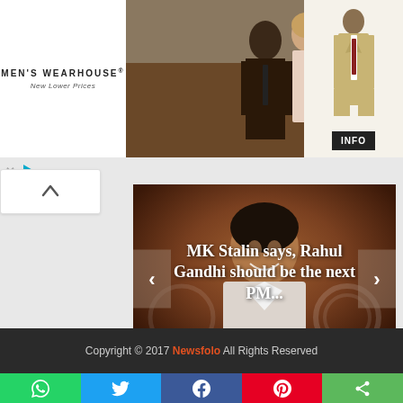[Figure (screenshot): Men's Wearhouse advertisement banner showing a couple in formal wear and a man in a tan suit, with INFO button]
[Figure (photo): Slideshow image of MK Stalin smiling, with navigation arrows on left and right. Overlay text reads: MK Stalin says, Rahul Gandhi should be the next PM...]
Copyright © 2017 Newsfolo All Rights Reserved
[Figure (infographic): Social sharing bar with WhatsApp, Twitter, Facebook, Pinterest, and Share buttons]